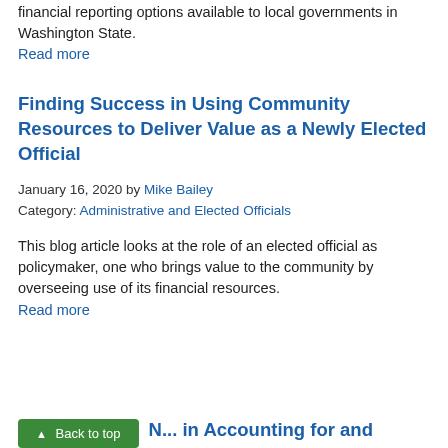financial reporting options available to local governments in Washington State.
Read more
Finding Success in Using Community Resources to Deliver Value as a Newly Elected Official
January 16, 2020 by Mike Bailey
Category: Administrative and Elected Officials
This blog article looks at the role of an elected official as policymaker, one who brings value to the community by overseeing use of its financial resources.
Read more
Back to top
N... in Accounting for and